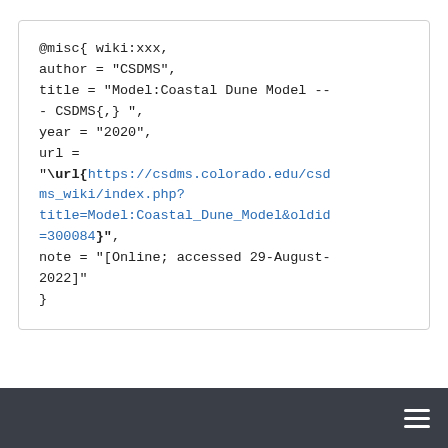@misc{ wiki:xxx,
author = "CSDMS",
title = "Model:Coastal Dune Model --- CSDMS{,} ",
year = "2020",
url =
"\url{https://csdms.colorado.edu/csdms_wiki/index.php?title=Model:Coastal_Dune_Model&oldid=300084}",
note = "[Online; accessed 29-August-2022]"
}